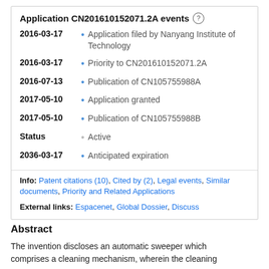Application CN201610152071.2A events
2016-03-17 • Application filed by Nanyang Institute of Technology
2016-03-17 • Priority to CN201610152071.2A
2016-07-13 • Publication of CN105755988A
2017-05-10 • Application granted
2017-05-10 • Publication of CN105755988B
Status • Active
2036-03-17 • Anticipated expiration
Info: Patent citations (10), Cited by (2), Legal events, Similar documents, Priority and Related Applications
External links: Espacenet, Global Dossier, Discuss
Abstract
The invention discloses an automatic sweeper which comprises a cleaning mechanism, wherein the cleaning